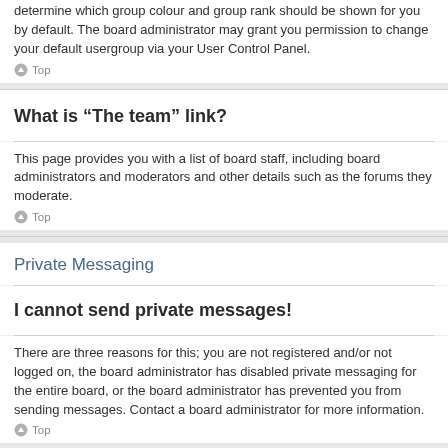determine which group colour and group rank should be shown for you by default. The board administrator may grant you permission to change your default usergroup via your User Control Panel.
Top
What is “The team” link?
This page provides you with a list of board staff, including board administrators and moderators and other details such as the forums they moderate.
Top
Private Messaging
I cannot send private messages!
There are three reasons for this; you are not registered and/or not logged on, the board administrator has disabled private messaging for the entire board, or the board administrator has prevented you from sending messages. Contact a board administrator for more information.
Top